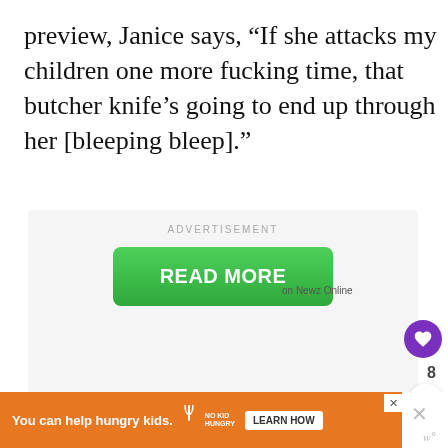preview, Janice says, “If she attacks my children one more fucking time, that butcher knife’s going to end up through her [bleeping bleep].”
[Figure (screenshot): Advertisement box with green READ MORE button and text 'on Newz Online', with heart (like) button showing count 8 and a share button on the right side]
[Figure (screenshot): Bottom advertisement banner in orange: 'You can help hungry kids.' with NO KID HUNGRY logo and LEARN HOW button, plus close X button]